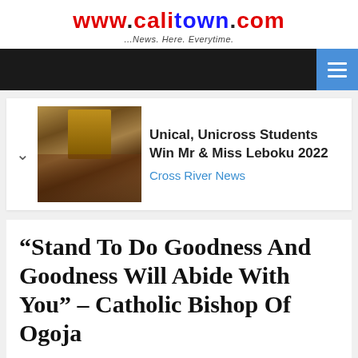www.calitown.com ...News. Here. Everytime.
[Figure (screenshot): Navigation bar with dark background and blue hamburger menu button on the right]
[Figure (photo): Thumbnail photo of a person in traditional festival costume with tall headpiece]
Unical, Unicross Students Win Mr & Miss Leboku 2022
Cross River News
“Stand To Do Goodness And Goodness Will Abide With You” – Catholic Bishop Of Ogoja
December 5, 2021   Admin   No Comments